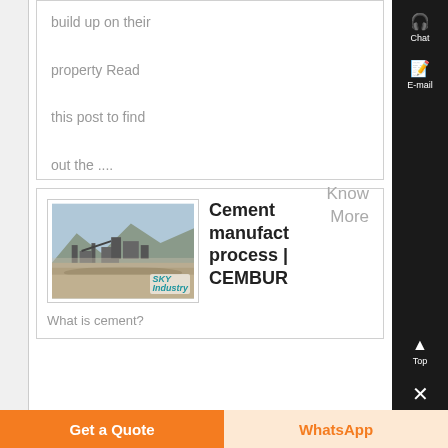build up on their property Read this post to find out the ....
Know More
[Figure (photo): Aerial view of a cement quarry/mining site with industrial equipment and SKY logo watermark]
Cement manufacturing process | CEMBUR
What is cement?
Get a Quote
WhatsApp